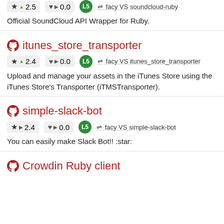Official SoundCloud API Wrapper for Ruby.
itunes_store_transporter
★ ▲ 2.4   ♥ ▶ 0.0   L5   ⇌ facy VS itunes_store_transporter
Upload and manage your assets in the iTunes Store using the iTunes Store's Transporter (iTMSTransporter).
simple-slack-bot
★ ▶ 2.4   ♥ ▶ 0.0   L5   ⇌ facy VS simple-slack-bot
You can easily make Slack Bot!! :star:
Crowdin Ruby client